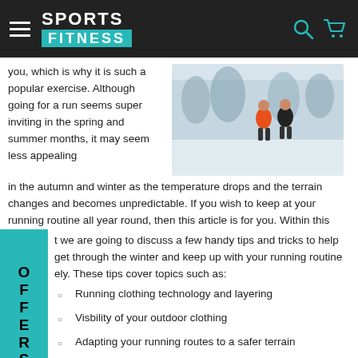SPORTS FITNESS
you, which is why it is such a popular exercise. Although going for a run seems super inviting in the spring and summer months, it may seem less appealing in the autumn and winter as the temperature drops and the terrain changes and becomes unpredictable. If you wish to keep at your running routine all year round, then this article is for you. Within this t we are going to discuss a few handy tips and tricks to help get through the winter and keep up with your running routine ely. These tips cover topics such as:
[Figure (photo): Two runners jogging in snow-covered winter landscape, one in orange jacket, one in black]
Running clothing technology and layering
Visbility of your outdoor clothing
Adapting your running routes to a safer terrain
Keeping warm while outdoors